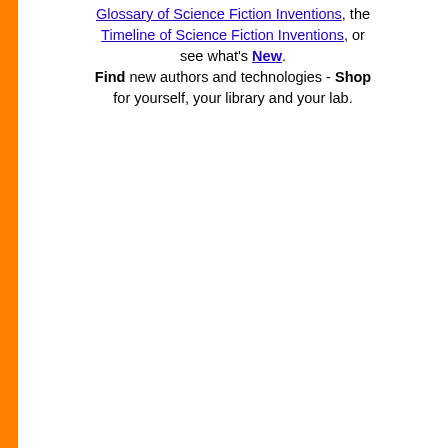Glossary of Science Fiction Inventions, the Timeline of Science Fiction Inventions, or see what's New. Find new authors and technologies - Shop for yourself, your library and your lab.